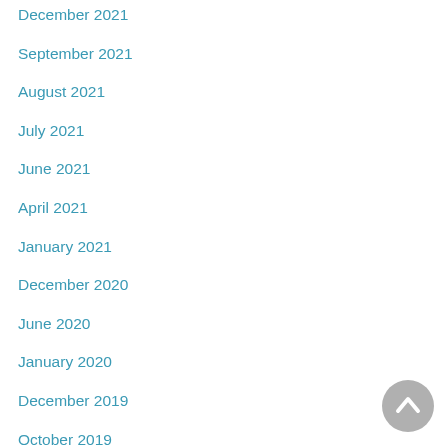December 2021
September 2021
August 2021
July 2021
June 2021
April 2021
January 2021
December 2020
June 2020
January 2020
December 2019
October 2019
September 2019
August 2019
July 2019